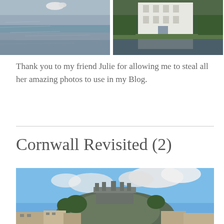[Figure (photo): Photo of water/lake with ripples and a swan or bird visible at top]
[Figure (photo): Photo of a white house/building reflected in water with trees]
Thank you to my friend Julie for allowing me to steal all her amazing photos to use in my Blog.
Cornwall Revisited (2)
[Figure (photo): Photo of a hilltop castle or building (likely St Michael's Mount) against a blue sky with clouds, buildings in foreground]